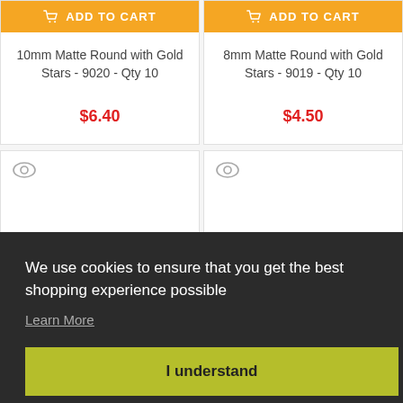ADD TO CART
10mm Matte Round with Gold Stars - 9020 - Qty 10
$6.40
ADD TO CART
8mm Matte Round with Gold Stars - 9019 - Qty 10
$4.50
We use cookies to ensure that you get the best shopping experience possible
Learn More
I understand